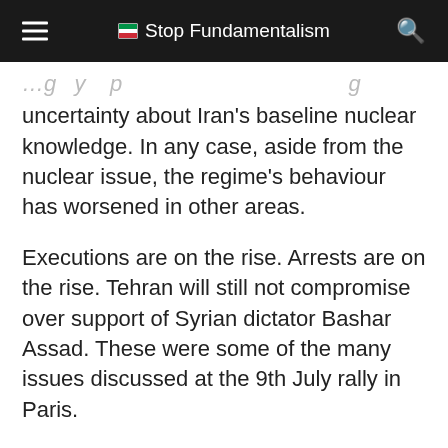Stop Fundamentalism
…uncertainty about Iran's baseline nuclear knowledge. In any case, aside from the nuclear issue, the regime's behaviour has worsened in other areas.
Executions are on the rise. Arrests are on the rise. Tehran will still not compromise over support of Syrian dictator Bashar Assad. These were some of the many issues discussed at the 9th July rally in Paris.
Amess said: “There is an alternative to conciliation and war. It involves supporting Iranian resistance movement that gives voi[ce to] the democratic aspiration of the Iranian people.